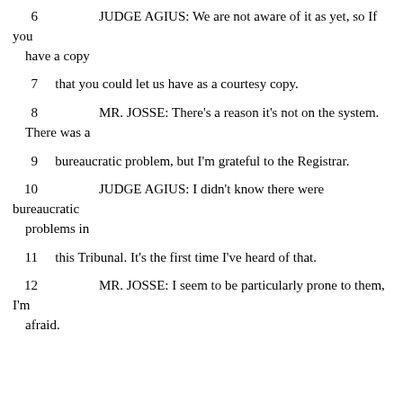6    JUDGE AGIUS:  We are not aware of it as yet, so If you have a copy
7    that you could let us have as a courtesy copy.
8    MR. JOSSE:  There's a reason it's not on the system. There was a
9    bureaucratic problem, but I'm grateful to the Registrar.
10    JUDGE AGIUS:  I didn't know there were bureaucratic problems in
11    this Tribunal.  It's the first time I've heard of that.
12    MR. JOSSE:  I seem to be particularly prone to them, I'm afraid.